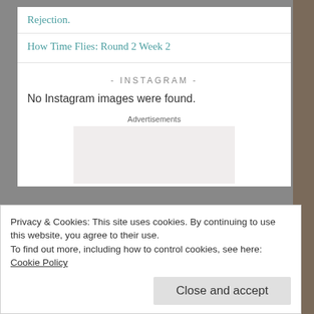Rejection.
How Time Flies: Round 2 Week 2
- INSTAGRAM -
No Instagram images were found.
Advertisements
[Figure (other): Empty advertisement placeholder box]
Privacy & Cookies: This site uses cookies. By continuing to use this website, you agree to their use.
To find out more, including how to control cookies, see here: Cookie Policy
Close and accept